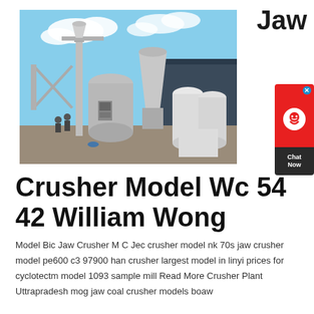Jaw
[Figure (photo): Industrial crusher/cone crusher machine photographed outdoors against a blue sky with clouds. Large white industrial equipment including a cone crusher and other machinery on a concrete pad, with a dark building in the background.]
[Figure (other): Chat Now widget button - red top section with headset icon, dark bottom section with Chat Now text, and X close button.]
Crusher Model Wc 54 42 William Wong
Model Bic Jaw Crusher M C Jec crusher model nk 70s jaw crusher model pe600 c3 97900 han crusher largest model in linyi prices for cyclotectm model 1093 sample mill Read More Crusher Plant Uttrapradesh mog jaw coal crusher models boaw